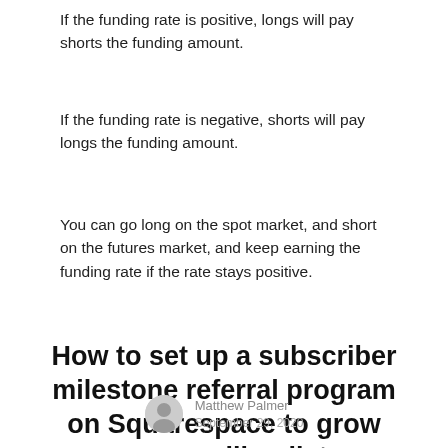If the funding rate is positive, longs will pay shorts the funding amount.
If the funding rate is negative, shorts will pay longs the funding amount.
You can go long on the spot market, and short on the futures market, and keep earning the funding rate if the rate stays positive.
How to set up a subscriber milestone referral program on Squarespace to grow your mailing list
Matthew Palmer
September 29, 2020